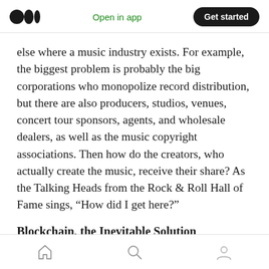Open in app | Get started
else where a music industry exists. For example, the biggest problem is probably the big corporations who monopolize record distribution, but there are also producers, studios, venues, concert tour sponsors, agents, and wholesale dealers, as well as the music copyright associations. Then how do the creators, who actually create the music, receive their share? As the Talking Heads from the Rock & Roll Hall of Fame sings, “How did I get here?”
Blockchain, the Inevitable Solution